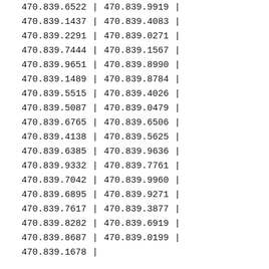| 470.839.6522 | | | 470.839.9919 | | |
| 470.839.1437 | | | 470.839.4083 | | |
| 470.839.2291 | | | 470.839.0271 | | |
| 470.839.7444 | | | 470.839.1567 | | |
| 470.839.9651 | | | 470.839.8990 | | |
| 470.839.1489 | | | 470.839.8784 | | |
| 470.839.5515 | | | 470.839.4026 | | |
| 470.839.5087 | | | 470.839.0479 | | |
| 470.839.6765 | | | 470.839.6506 | | |
| 470.839.4138 | | | 470.839.5625 | | |
| 470.839.6385 | | | 470.839.9636 | | |
| 470.839.9332 | | | 470.839.7761 | | |
| 470.839.7042 | | | 470.839.9960 | | |
| 470.839.6895 | | | 470.839.9271 | | |
| 470.839.7617 | | | 470.839.3877 | | |
| 470.839.8282 | | | 470.839.6919 | | |
| 470.839.8687 | | | 470.839.0199 | | |
| 470.839.1678 | | |  |  |